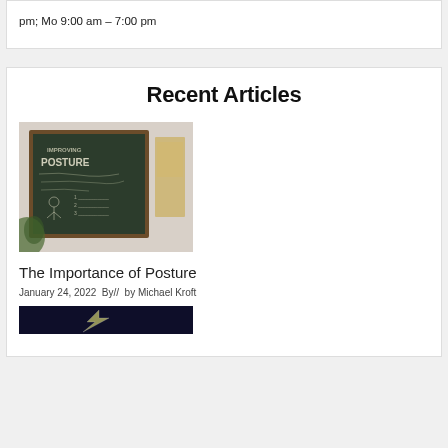pm; Mo 9:00 am – 7:00 pm
Recent Articles
[Figure (photo): A chalkboard sign with the word POSTURE written on it in chalk, with a plant visible in the corner, hanging on a wall.]
The Importance of Posture
January 24, 2022  By//  by Michael Kroft
[Figure (photo): A dark blue/black image with what appears to be a lightning bolt or bright streak of light.]